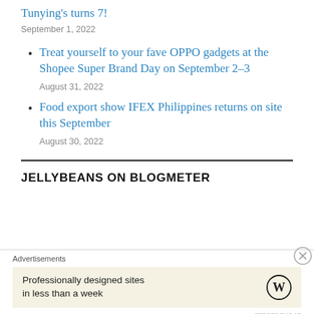Tunying's turns 7!
September 1, 2022
Treat yourself to your fave OPPO gadgets at the Shopee Super Brand Day on September 2–3
August 31, 2022
Food export show IFEX Philippines returns on site this September
August 30, 2022
JELLYBEANS ON BLOGMETER
Advertisements
Professionally designed sites in less than a week